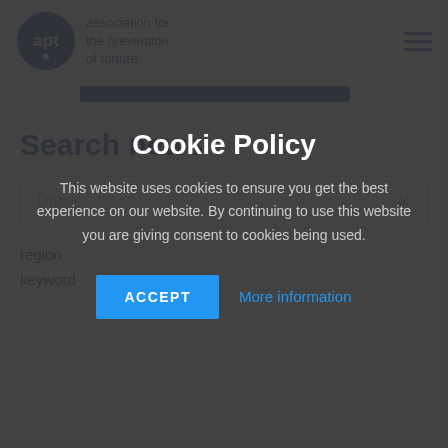[Figure (logo): APT (Association for the Prevention of Torture) logo: blue circle with 'apt' text and exclamation mark, with organization name text to the right]
Search news
Date
Cookie Policy
This website uses cookies to ensure you get the best experience on our website. By continuing to use this website you are giving consent to cookies being used.
ACCEPT
More information